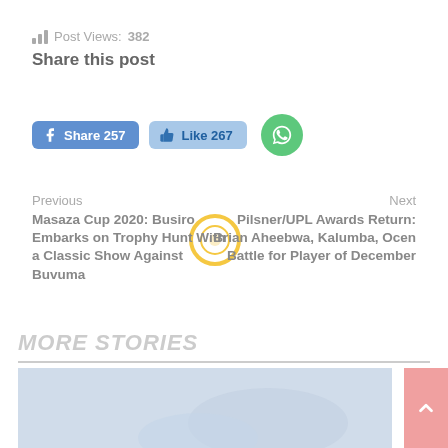Post Views: 382
Share this post
[Figure (screenshot): Tweet button (blue rounded rectangle with Twitter bird icon)]
[Figure (screenshot): Facebook Share 257 button (blue) and Like 267 button (light blue), and WhatsApp green circle button]
Previous
Masaza Cup 2020: Busiro Embarks on Trophy Hunt With a Classic Show Against Buvuma
Next
Pilsner/UPL Awards Return: Brian Aheebwa, Kalumba, Ocen Battle for Player of December
MORE STORIES
[Figure (photo): Partial sports/news story image at the bottom of the page]